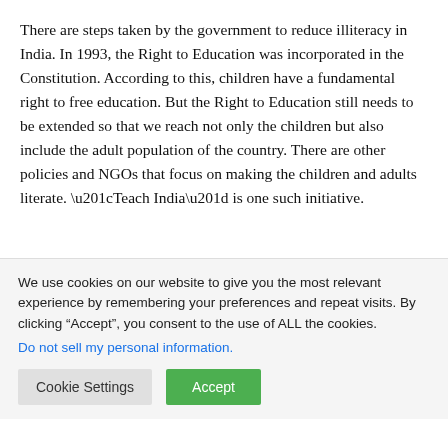There are steps taken by the government to reduce illiteracy in India. In 1993, the Right to Education was incorporated in the Constitution. According to this, children have a fundamental right to free education. But the Right to Education still needs to be extended so that we reach not only the children but also include the adult population of the country. There are other policies and NGOs that focus on making the children and adults literate. “Teach India” is one such initiative.
We use cookies on our website to give you the most relevant experience by remembering your preferences and repeat visits. By clicking “Accept”, you consent to the use of ALL the cookies.
Do not sell my personal information.